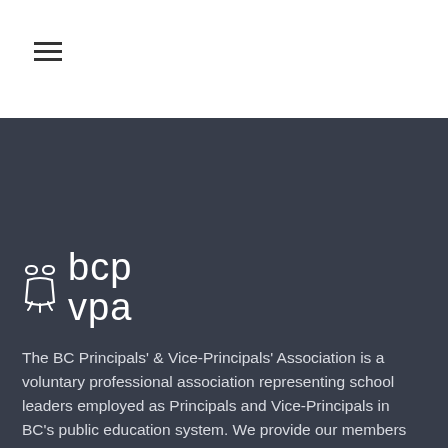[Figure (logo): Hamburger menu icon (three horizontal lines)]
[Figure (logo): BCPVPA owl logo with 'bcp vpa' text in white on dark background]
The BC Principals' & Vice-Principals' Association is a voluntary professional association representing school leaders employed as Principals and Vice-Principals in BC's public education system. We provide our members with the professional services and supports they need to provide exemplary leadership in public education.